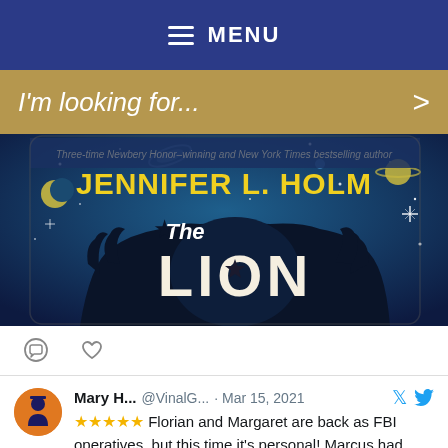MENU
I'm looking for...
[Figure (illustration): Book cover for 'The Lion' by Jennifer L. Holm. Dark blue starry background with a silhouette of a lion's head. Title text shows 'JENNIFER L. HOLM' in yellow at top and 'The LION' in large white/cream letters.]
Mary H... @VinalG... · Mar 15, 2021 ⭐⭐⭐⭐⭐ Florian and Margaret are back as FBI operatives, but this time it's personal! Marcus had been set up for a crime that he didn't commit! @JamesPonti tempts us to uncover the clues before